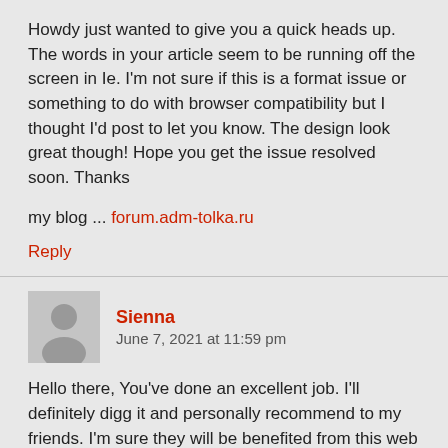Howdy just wanted to give you a quick heads up. The words in your article seem to be running off the screen in Ie. I'm not sure if this is a format issue or something to do with browser compatibility but I thought I'd post to let you know. The design look great though! Hope you get the issue resolved soon. Thanks
my blog ... forum.adm-tolka.ru
Reply
Sienna
June 7, 2021 at 11:59 pm
Hello there, You've done an excellent job. I'll definitely digg it and personally recommend to my friends. I'm sure they will be benefited from this web site.